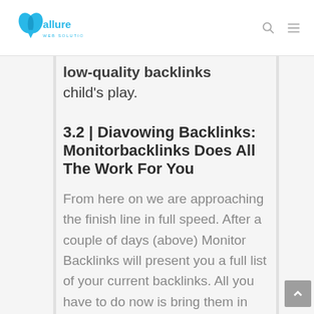[Figure (logo): Allure Web Solutions logo in blue with stylized butterfly/shield icon and text]
low-quality backlinks child's play.
3.2 | Diavowing Backlinks: Monitorbacklinks Does All The Work For You
From here on we are approaching the finish line in full speed. After a couple of days (above) Monitor Backlinks will present you a full list of your current backlinks. All you have to do now is bring them in…